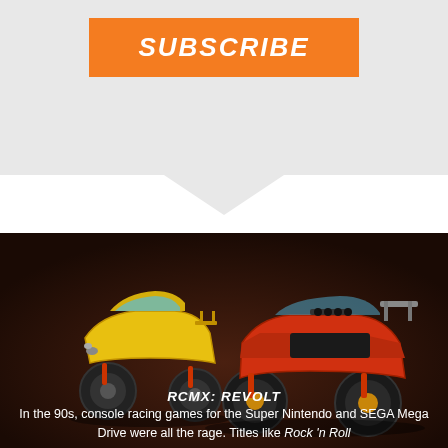SUBSCRIBE
[Figure (photo): Two RC monster trucks — one yellow and one red/orange — photographed against a dark brown background. The vehicles have large off-road tires and suspension springs.]
RCMX: REVOLT
In the 90s, console racing games for the Super Nintendo and SEGA Mega Drive were all the rage. Titles like Rock 'n Roll